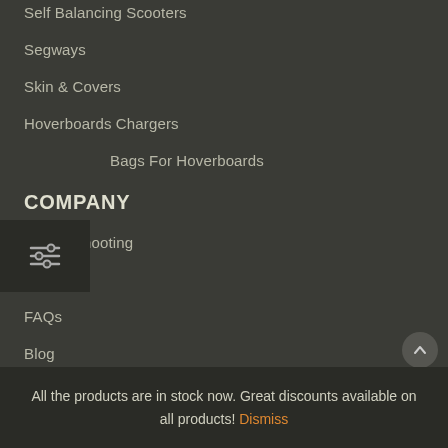Self Balancing Scooters
Segways
Skin & Covers
Hoverboards Chargers
Spare Bags For Hoverboards
COMPANY
Troubleshooting
About Us
FAQs
Blog
Contact Us
Terms & Conditions
Warranty Policy
Returns Policy
Repair Services
All the products are in stock now. Great discounts available on all products! Dismiss